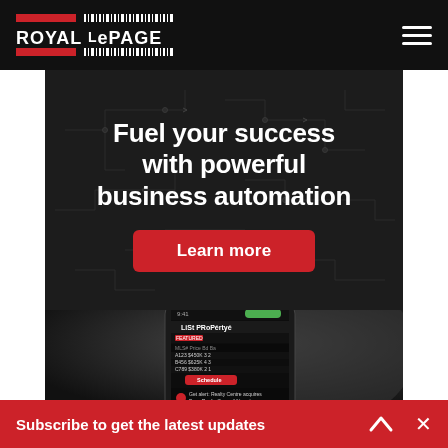ROYAL LEPAGE
Fuel your success with powerful business automation
Learn more
[Figure (photo): A smartphone displaying the Royal LePage app interface with property listings, viewed from an angle on a dark background.]
Subscribe to get the latest updates